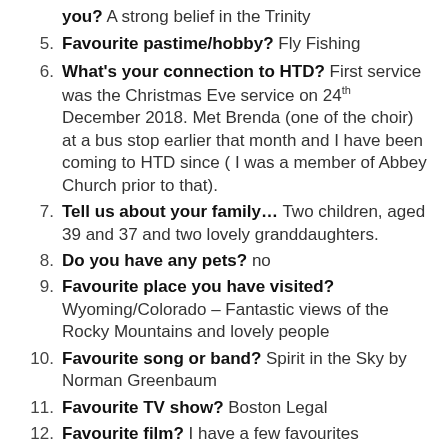you? A strong belief in the Trinity
5. Favourite pastime/hobby? Fly Fishing
6. What's your connection to HTD? First service was the Christmas Eve service on 24th December 2018. Met Brenda (one of the choir) at a bus stop earlier that month and I have been coming to HTD since ( I was a member of Abbey Church prior to that).
7. Tell us about your family... Two children, aged 39 and 37 and two lovely granddaughters.
8. Do you have any pets? no
9. Favourite place you have visited? Wyoming/Colorado – Fantastic views of the Rocky Mountains and lovely people
10. Favourite song or band? Spirit in the Sky by Norman Greenbaum
11. Favourite TV show? Boston Legal
12. Favourite film? I have a few favourites